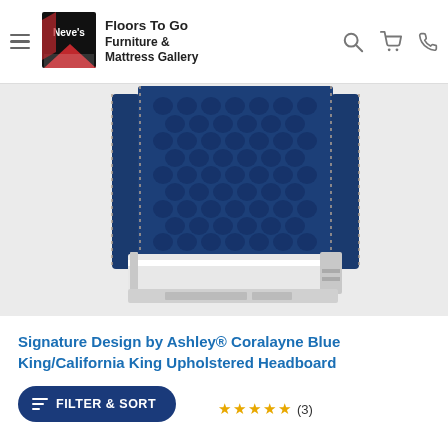Neve's Floors To Go Furniture & Mattress Gallery
[Figure (photo): Blue tufted upholstered headboard (Coralayne) with wingback design in deep navy velvet fabric, shown with white bed frame. Signature Design by Ashley product photo.]
Signature Design by Ashley® Coralayne Blue King/California King Upholstered Headboard
FILTER & SORT
(3)